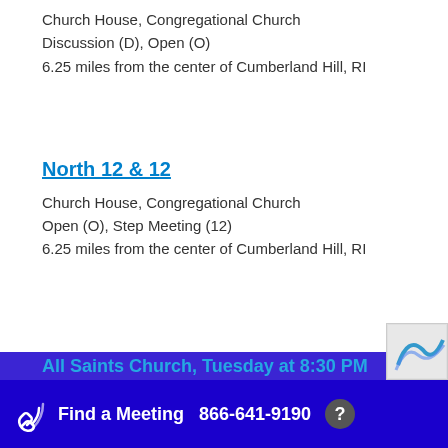Church House, Congregational Church
Discussion (D), Open (O)
6.25 miles from the center of Cumberland Hill, RI
North 12 & 12
Church House, Congregational Church
Open (O), Step Meeting (12)
6.25 miles from the center of Cumberland Hill, RI
All Saints Church, Tuesday at 8:30 PM
Find a Meeting  866-641-9190